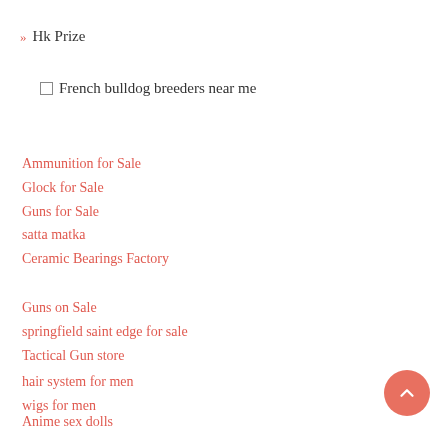» Hk Prize
French bulldog breeders near me
Ammunition for Sale
Glock for Sale
Guns for Sale
satta matka
Ceramic Bearings Factory
Guns on Sale
springfield saint edge for sale
Tactical Gun store
hair system for men
wigs for men
Anime sex dolls
regalos especiales para mamas